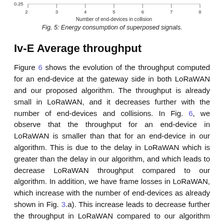[Figure (continuous-plot): Partial top of a line/energy chart showing x-axis ticks from 2 to 8 labeled 'Number of end-devices in collision', with a y-axis value of 0.25 visible at top-left.]
Fig. 5: Energy consumption of superposed signals.
Iv-E Average throughput
Figure 6 shows the evolution of the throughput computed for an end-device at the gateway side in both LoRaWAN and our proposed algorithm. The throughput is already small in LoRaWAN, and it decreases further with the number of end-devices and collisions. In Fig. 6, we observe that the throughput for an end-device in LoRaWAN is smaller than that for an end-device in our algorithm. This is due to the delay in LoRaWAN which is greater than the delay in our algorithm, and which leads to decrease LoRaWAN throughput compared to our algorithm. In addition, we have frame losses in LoRaWAN, which increase with the number of end-devices as already shown in Fig. 3.a). This increase leads to decrease further the throughput in LoRaWAN compared to our algorithm where no frame losses are present. For instance, for 8 colliding end-devices with SF12, we observe a gain of almost 95% in our algorithm compared to LoRaWAN. For 8 colliding end-